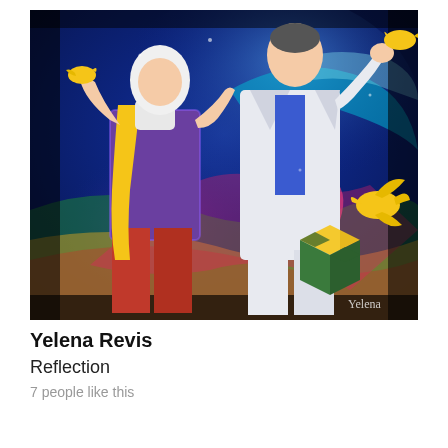[Figure (illustration): A colorful painting by Yelena Revis titled 'Reflection'. Two figures stand against a swirling blue, purple, and multicolored cosmic background. The left figure wears red pants, a patterned sweater, and a yellow scarf. The right figure is dressed in white. Yellow birds (canaries or parakeets) fly around them. A checkerboard cube in yellow and dark green/blue sits in the lower right. The painting is signed 'Yelena' in the lower right corner. The edges of the painting are dark/black giving it a vignette effect.]
Yelena Revis
Reflection
7 people like this